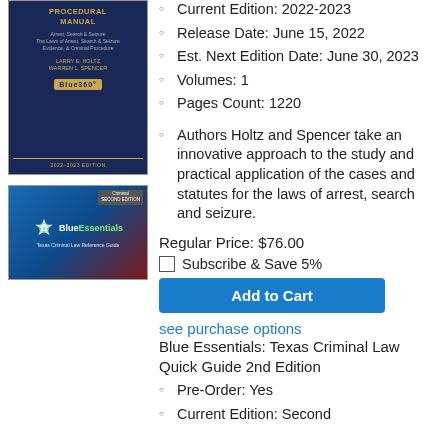[Figure (illustration): Book cover of a criminal law procedural manual, dark blue with gold title text, authors Larry E. Holtz and Warren L. Spencer, Blue360 Media logo, 2022-2023 Edition]
Current Edition: 2022-2023
Release Date: June 15, 2022
Est. Next Edition Date: June 30, 2023
Volumes: 1
Pages Count: 1220
Authors Holtz and Spencer take an innovative approach to the study and practical application of the cases and statutes for the laws of arrest, search and seizure.
Regular Price: $76.00
Subscribe & Save 5%
Add to Cart
see purchase options
[Figure (illustration): Book cover of Blue Essentials: Texas Criminal Law Reference Guide, blue and red gradient background, second edition tag]
Blue Essentials: Texas Criminal Law Quick Guide 2nd Edition
Pre-Order: Yes
Current Edition: Second